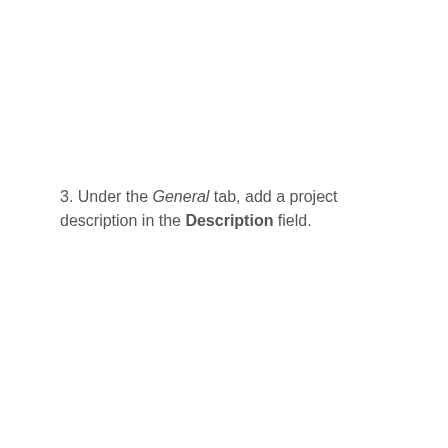3. Under the General tab, add a project description in the Description field.